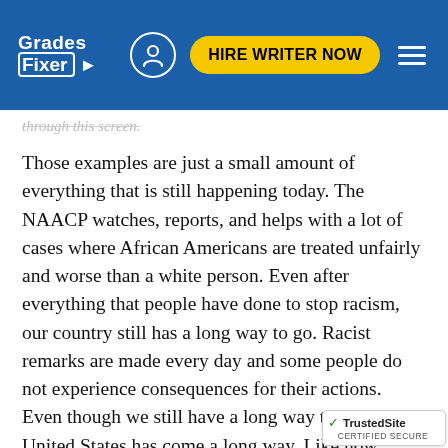Grades Fixer | HIRE WRITER NOW
through this screen.
Those examples are just a small amount of everything that is still happening today. The NAACP watches, reports, and helps with a lot of cases where African Americans are treated unfairly and worse than a white person. Even after everything that people have done to stop racism, our country still has a long way to go. Racist remarks are made every day and some people do not experience consequences for their actions. Even though we still have a long way to go, the United States has come a long way. Like how slavery is now illegal. There have been many civil rights leaders that contributed and are still contributing to other causes too. The Red Summer was a time in U.S. history that is considered to have some of the worst racist that have ever been recorded.